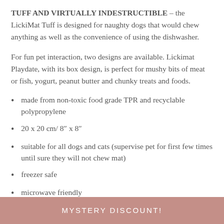TUFF AND VIRTUALLY INDESTRUCTIBLE – the LickiMat Tuff is designed for naughty dogs that would chew anything as well as the convenience of using the dishwasher.
For fun pet interaction, two designs are available. Lickimat Playdate, with its box design, is perfect for mushy bits of meat or fish, yogurt, peanut butter and chunky treats and foods.
made from non-toxic food grade TPR and recyclable polypropylene
20 x 20 cm/ 8″ x 8″
suitable for all dogs and cats (supervise pet for first few times until sure they will not chew mat)
freezer safe
microwave friendly
MYSTERY DISCOUNT!